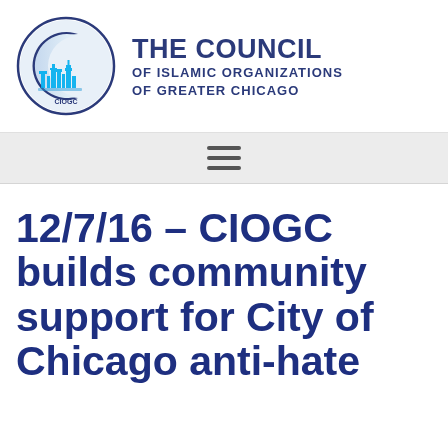[Figure (logo): Council of Islamic Organizations of Greater Chicago logo: crescent moon with Chicago skyline in blue and cyan tones, with CIOGC text]
THE COUNCIL OF ISLAMIC ORGANIZATIONS OF GREATER CHICAGO
[Figure (other): Hamburger menu icon (three horizontal lines)]
12/7/16 – CIOGC builds community support for City of Chicago anti-hate